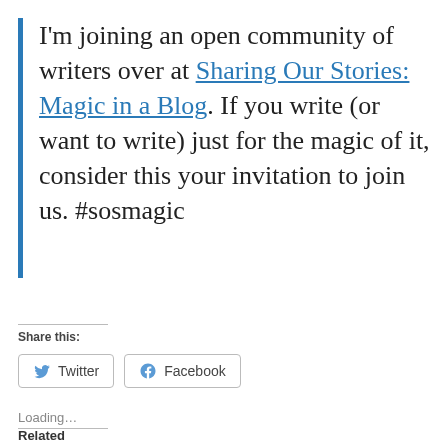I'm joining an open community of writers over at Sharing Our Stories: Magic in a Blog. If you write (or want to write) just for the magic of it, consider this your invitation to join us. #sosmagic
Share this:
Twitter  Facebook
Loading...
Related